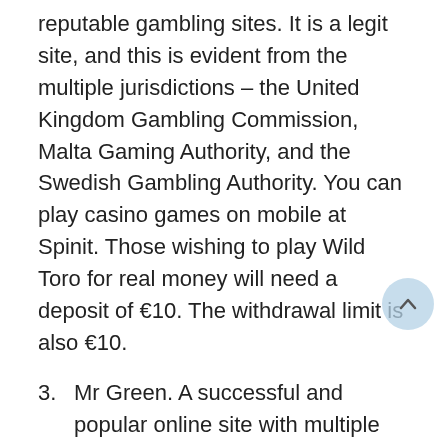reputable gambling sites. It is a legit site, and this is evident from the multiple jurisdictions – the United Kingdom Gambling Commission, Malta Gaming Authority, and the Swedish Gambling Authority. You can play casino games on mobile at Spinit. Those wishing to play Wild Toro for real money will need a deposit of €10. The withdrawal limit is also €10.
3. Mr Green. A successful and popular online site with multiple awards for its excellent services. They offer creative and innovative content from top-notch software providers. Whether you want to play the slot mobile or a tablet or the desktop, all these options are available. New players will need to sign up with €20 to get a welcome bonus package inclusive of free spins and a cash bonus. A no deposit bonus is available for your first registration. Mr Green has a user-friendly interface that is